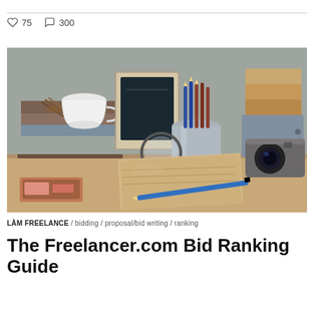♡ 75   ◯ 300
[Figure (photo): A flat-lay photograph of a desk with stacked books, a white ceramic cup, twigs, a small chalkboard, a metal pencil holder with pencils, stacked orange boxes, a vintage camera, a magnifying glass, a notebook, a blue pencil, and a small wooden pencil tray on a light wooden surface against a gray wall.]
LÀM FREELANCE / bidding / proposal/bid writing / ranking
The Freelancer.com Bid Ranking Guide